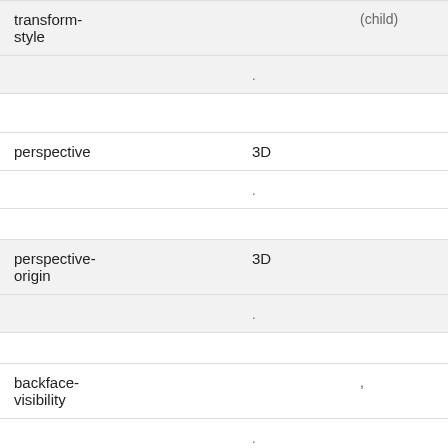| 속성 | 분류 | 비고 |
| --- | --- | --- |
| transform-style |  | (child) |
| perspective | 3D | . |
| perspective-origin | 3D | . |
| backface-visibility |  | , . |
CSS3 3D transform
| 속성 | 설명 |
| --- | --- |